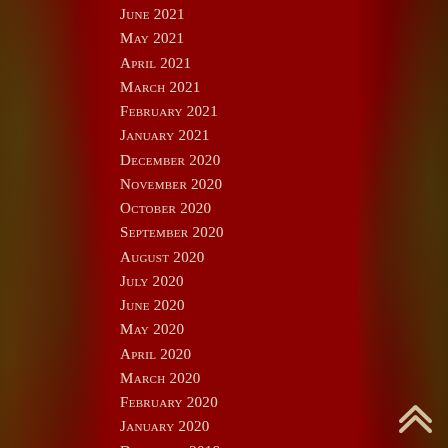June 2021
May 2021
April 2021
March 2021
February 2021
January 2021
December 2020
November 2020
October 2020
September 2020
August 2020
July 2020
June 2020
May 2020
April 2020
March 2020
February 2020
January 2020
December 2019
November 2019
October 2019
September 2019